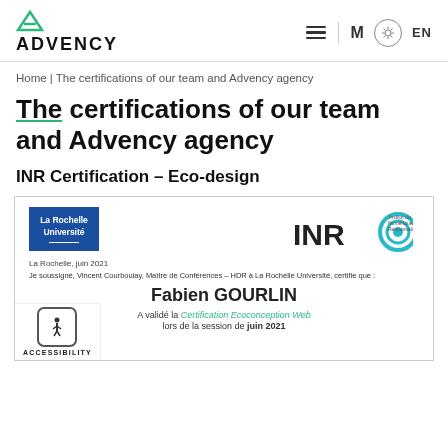ADVENCY | navigation icons: hamburger menu, M icon, sun/settings, EN
Home | The certifications of our team and Advency agency
The certifications of our team and Advency agency
INR Certification – Eco-design
[Figure (other): INR Eco-design certificate from La Rochelle Université for Fabien GOURLIN, dated June 2021, signed by Vincent Courboulay, Maître de Conférences – HDR. Certificate states: A validé la Certification Ecoconception Web lors de la session de juin 2021. Features La Rochelle Université logo, INR logo, and accessibility icon.]